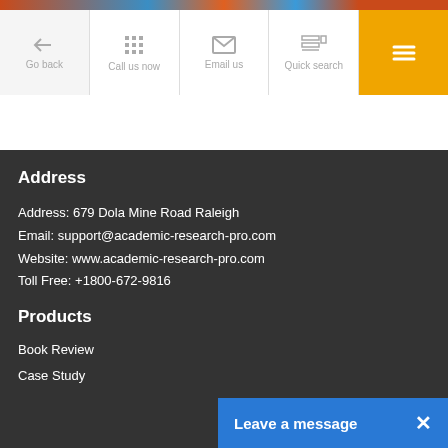[Figure (screenshot): Top navigation bar with Go back, Call us now, Email us, Quick search, and hamburger menu (orange background) icons]
Address
Address: 679 Dola Mine Road Raleigh
Email: support@academic-research-pro.com
Website: www.academic-research-pro.com
Toll Free: +1800-672-9816
Products
Book Review
Case Study
Leave a message